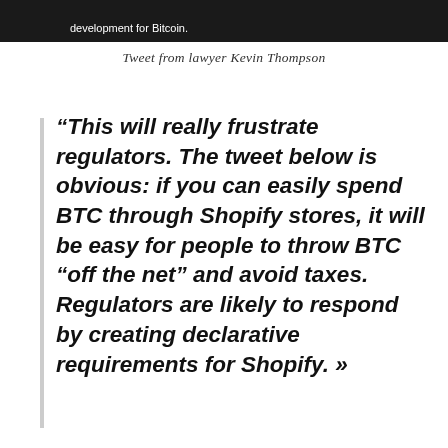[Figure (screenshot): Dark screenshot bar showing partial text: 'development for Bitcoin.']
Tweet from lawyer Kevin Thompson
“This will really frustrate regulators. The tweet below is obvious: if you can easily spend BTC through Shopify stores, it will be easy for people to throw BTC “off the net” and avoid taxes. Regulators are likely to respond by creating declarative requirements for Shopify. »